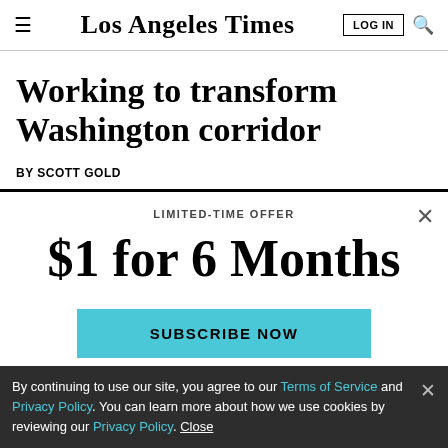Los Angeles Times
Working to transform Washington corridor
BY SCOTT GOLD
LIMITED-TIME OFFER
$1 for 6 Months
SUBSCRIBE NOW
By continuing to use our site, you agree to our Terms of Service and Privacy Policy. You can learn more about how we use cookies by reviewing our Privacy Policy. Close